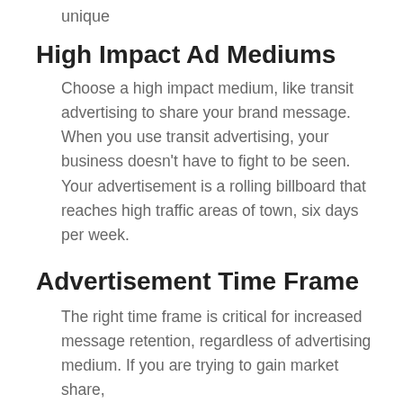unique
High Impact Ad Mediums
Choose a high impact medium, like transit advertising to share your brand message. When you use transit advertising, your business doesn't have to fight to be seen. Your advertisement is a rolling billboard that reaches high traffic areas of town, six days per week.
Advertisement Time Frame
The right time frame is critical for increased message retention, regardless of advertising medium. If you are trying to gain market share,